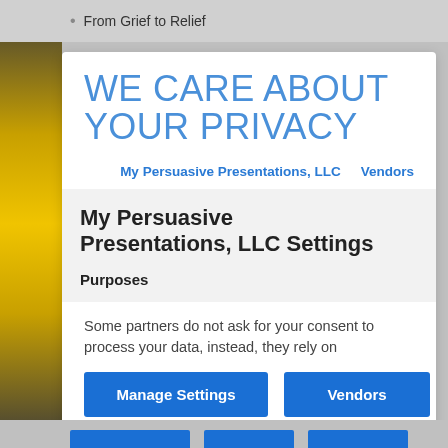From Grief to Relief
WE CARE ABOUT YOUR PRIVACY
My Persuasive Presentations, LLC   Vendors
My Persuasive Presentations, LLC Settings
Purposes
Some partners do not ask for your consent to process your data, instead, they rely on